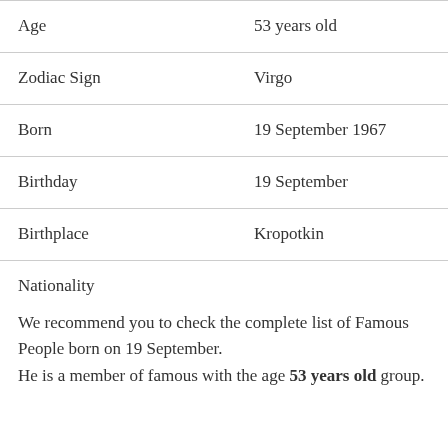| Field | Value |
| --- | --- |
| Age | 53 years old |
| Zodiac Sign | Virgo |
| Born | 19 September 1967 |
| Birthday | 19 September |
| Birthplace | Kropotkin |
| Nationality |  |
We recommend you to check the complete list of Famous People born on 19 September. He is a member of famous with the age 53 years old group.